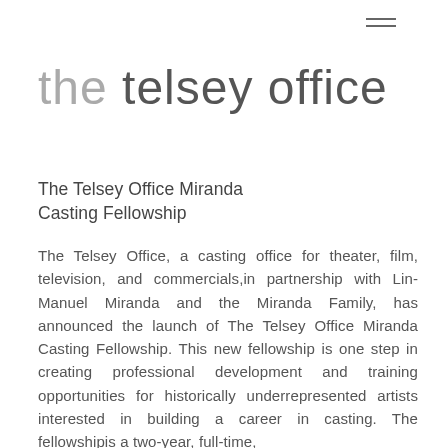[Figure (other): Hamburger menu icon (three horizontal lines) in the top right corner]
the telsey office
The Telsey Office Miranda Casting Fellowship
The Telsey Office, a casting office for theater, film, television, and commercials,in partnership with Lin-Manuel Miranda and the Miranda Family, has announced the launch of The Telsey Office Miranda Casting Fellowship. This new fellowship is one step in creating professional development and training opportunities for historically underrepresented artists interested in building a career in casting. The fellowshipis a two-year, full-time, salaried position created in an effort to